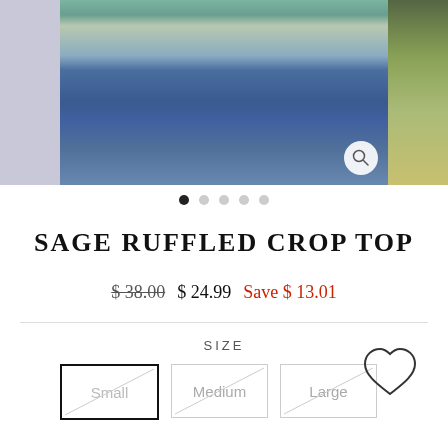[Figure (photo): Product carousel showing a model wearing a sage green ruffled crop top with blue jeans. Left panel shows partial view, center panel is main product image with magnify icon, right panel shows partial side view.]
• • • • •  (5 dots, first filled)
SAGE RUFFLED CROP TOP
$ 38.00  $ 24.99  Save $ 13.01
SIZE
Small  Medium  Large